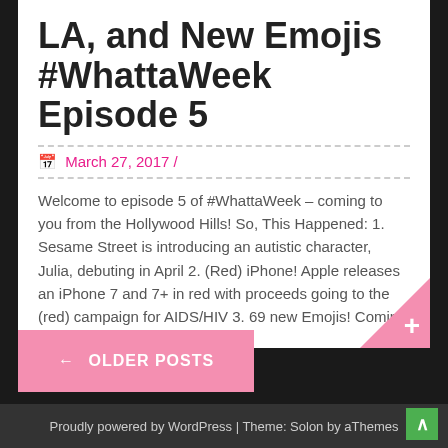LA, and New Emojis #WhattaWeek Episode 5
March 27, 2017 /
Welcome to episode 5 of #WhattaWeek – coming to you from the Hollywood Hills! So, This Happened: 1. Sesame Street is introducing an autistic character, Julia, debuting in April 2. (Red) iPhone! Apple releases an iPhone 7 and 7+ in red with proceeds going to the (red) campaign for AIDS/HIV 3. 69 new Emojis! Coming out [...]
← OLDER POSTS
Proudly powered by WordPress | Theme: Solon by aThemes